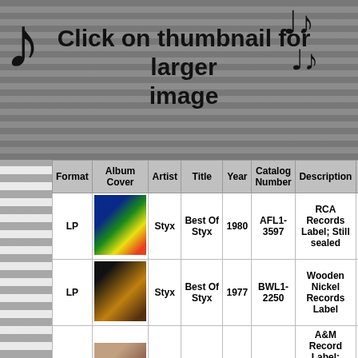[Figure (other): Banner with music notes and text: Click on thumbnail for larger image, on striped gray background]
| Format | Album Cover | Artist | Title | Year | Catalog Number | Description | G Cove |
| --- | --- | --- | --- | --- | --- | --- | --- |
| LP | [album cover image] | Styx | Best Of Styx | 1980 | AFL1-3597 | RCA Records Label; Still sealed |  |
| LP | [album cover image] | Styx | Best Of Styx | 1977 | BWL1-2250 | Wooden Nickel Records Label | VO |
| LP | [album cover image] | Styx | Caught In The Act | 1984 | SP-6514 | A&M Record Label; Album cover and records appear now! | NM |